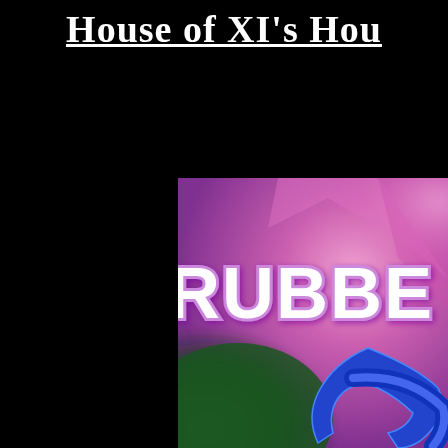House of XI's Hou
[Figure (screenshot): Colorful animated image with pink and green background showing the text 'RUBBE' in large white bubble letters with shadow/outline effect, and a blue lightning bolt or wing shape in the lower right portion of the image.]